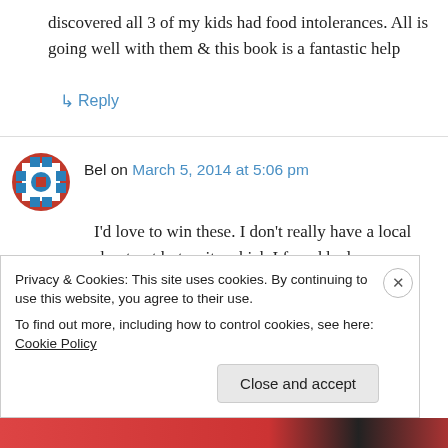discovered all 3 of my kids had food intolerances. All is going well with them & this book is a fantastic help
↳ Reply
Bel on March 5, 2014 at 5:06 pm
I'd love to win these. I don't really have a local shout out but a site which I found had some interesting information
http://nourishedkitchen.com
Privacy & Cookies: This site uses cookies. By continuing to use this website, you agree to their use.
To find out more, including how to control cookies, see here: Cookie Policy
Close and accept